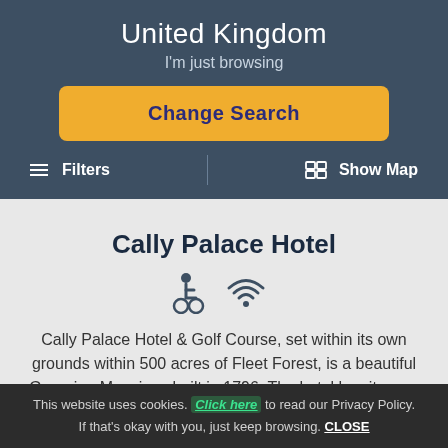United Kingdom
I'm just browsing
Change Search
≡ Filters  |  🗺 Show Map
Cally Palace Hotel
Cally Palace Hotel & Golf Course, set within its own grounds within 500 acres of Fleet Forest, is a beautiful Georgian Mansions built in 1796. The hotel has its own 1..
This website uses cookies. Click here to read our Privacy Policy. If that's okay with you, just keep browsing.  CLOSE